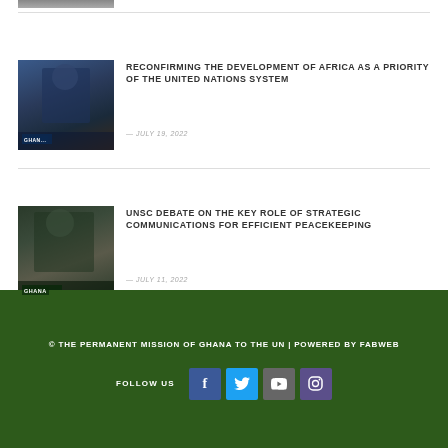[Figure (photo): Partial top strip of a previous article image]
[Figure (photo): Person in a suit speaking at a UN event, GHANA placard visible]
RECONFIRMING THE DEVELOPMENT OF AFRICA AS A PRIORITY OF THE UNITED NATIONS SYSTEM
— JULY 19, 2022
[Figure (photo): Person speaking at UNSC event with GHANA placard visible]
UNSC DEBATE ON THE KEY ROLE OF STRATEGIC COMMUNICATIONS FOR EFFICIENT PEACEKEEPING
— JULY 11, 2022
© THE PERMANENT MISSION OF GHANA TO THE UN | POWERED BY FABWEB
FOLLOW US
FOLLOW US